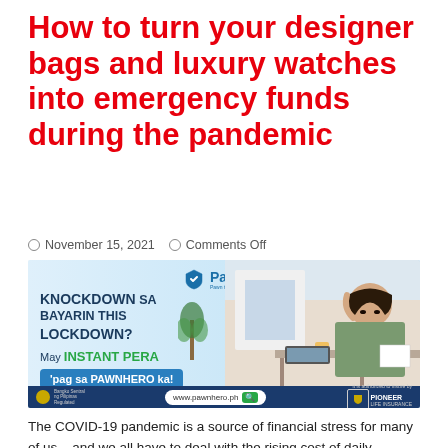How to turn your designer bags and luxury watches into emergency funds during the pandemic
November 15, 2021   Comments Off
[Figure (photo): PawnHero advertisement banner featuring a stressed woman looking at bills, with text 'KNOCKDOWN SA BAYARIN THIS LOCKDOWN? May INSTANT PERA 'pag sa PAWNHERO ka!' and a bottom bar showing www.pawnhero.ph]
The COVID-19 pandemic is a source of financial stress for many of us – and we all have to deal with the rising cost of daily necessities, in addition to other worries like job loss, closure companies and